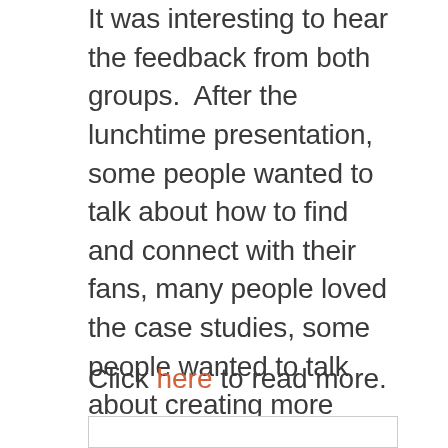It was interesting to hear the feedback from both groups.  After the lunchtime presentation, some people wanted to talk about how to find and connect with their fans, many people loved the case studies, some people wanted to talk about creating more engaging content.  In other words, there were plenty of themes that resonated with the audience, and areas that they felt they needed help with.
Click here to read more.